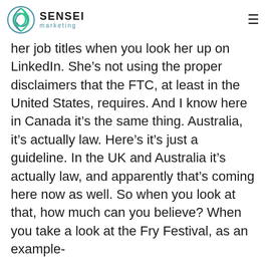SENSEI marketing
her job titles when you look her up on LinkedIn. She's not using the proper disclaimers that the FTC, at least in the United States, requires. And I know here in Canada it's the same thing. Australia, it's actually law. Here's it's just a guideline. In the UK and Australia it's actually law, and apparently that's coming here now as well. So when you look at that, how much can you believe? When you take a look at the Fry Festival, as an example-
…